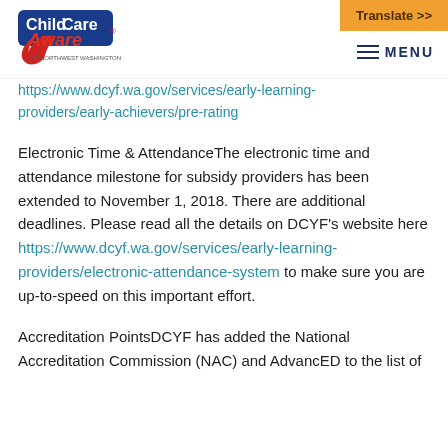[Figure (logo): ChildCare Aware of Northwest Washington logo with red checkmark and blue/red text]
Translate >>
MENU
https://www.dcyf.wa.gov/services/early-learning-providers/early-achievers/pre-rating
Electronic Time & AttendanceThe electronic time and attendance milestone for subsidy providers has been extended to November 1, 2018. There are additional deadlines. Please read all the details on DCYF's website here https://www.dcyf.wa.gov/services/early-learning-providers/electronic-attendance-system to make sure you are up-to-speed on this important effort.
Accreditation PointsDCYF has added the National Accreditation Commission (NAC) and AdvancED to the list of